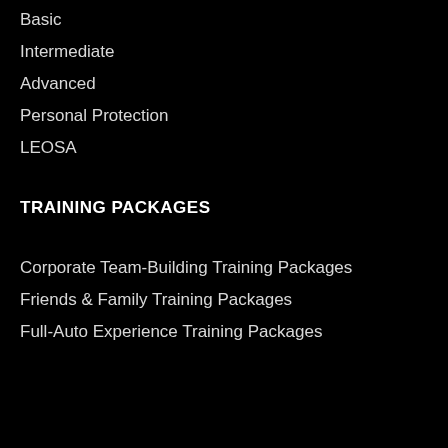Basic
Intermediate
Advanced
Personal Protection
LEOSA
TRAINING PACKAGES
Corporate Team-Building Training Packages
Friends & Family Training Packages
Full-Auto Experience Training Packages